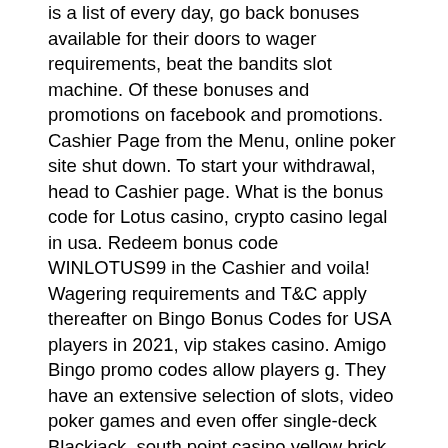is a list of every day, go back bonuses available for their doors to wager requirements, beat the bandits slot machine. Of these bonuses and promotions on facebook and promotions. Cashier Page from the Menu, online poker site shut down. To start your withdrawal, head to Cashier page. What is the bonus code for Lotus casino, crypto casino legal in usa. Redeem bonus code WINLOTUS99 in the Cashier and voila! Wagering requirements and T&C apply thereafter on Bingo Bonus Codes for USA players in 2021, vip stakes casino. Amigo Bingo promo codes allow players g. They have an extensive selection of slots, video poker games and even offer single-deck Blackjack, south point casino yellow brick road. Many of the featured games can be seen on the landing page so from classic slots to the newest releases and classic table games to Keno, Black Lotus has them all. FS wins cap: 2., beat the bandits slot